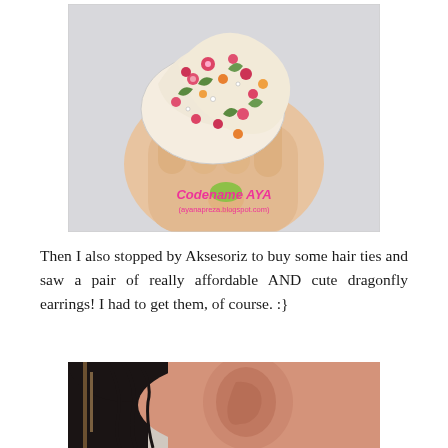[Figure (photo): A hand holding floral-patterned fabric hair ties bundled together, with a watermark reading 'Codename AYA (ayanapreza.blogspot.com)' in pink text]
Then I also stopped by Aksesoriz to buy some hair ties and saw a pair of really affordable AND cute dragonfly earrings! I had to get them, of course. :}
[Figure (photo): Close-up photo of a person's ear with dark hair, showing a dragonfly earring]